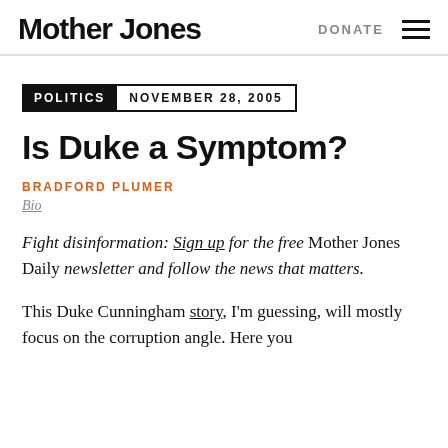Mother Jones | DONATE ≡
POLITICS  NOVEMBER 28, 2005
Is Duke a Symptom?
BRADFORD PLUMER
Bio
Fight disinformation: Sign up for the free Mother Jones Daily newsletter and follow the news that matters.
This Duke Cunningham story, I'm guessing, will mostly focus on the corruption angle. Here you